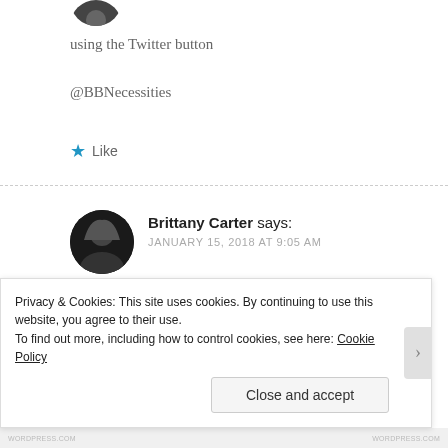[Figure (photo): Circular avatar photo of a person, partially visible at top]
using the Twitter button
@BBNecessities
★ Like
[Figure (photo): Circular avatar photo of Brittany Carter]
Brittany Carter says:
JANUARY 15, 2018 AT 9:05 AM
I followed The Young Scientists Club on Twitter
Privacy & Cookies: This site uses cookies. By continuing to use this website, you agree to their use.
To find out more, including how to control cookies, see here: Cookie Policy
Close and accept